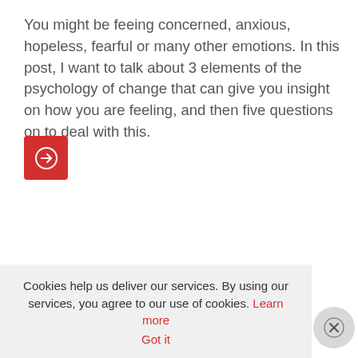You might be feeing concerned, anxious, hopeless, fearful or many other emotions. In this post, I want to talk about 3 elements of the psychology of change that can give you insight on how you are feeling, and then five questions on to deal with this.
[Figure (other): Red square button with a white circle arrow-right icon]
Cookies help us deliver our services. By using our services, you agree to our use of cookies. Learn more  Got it